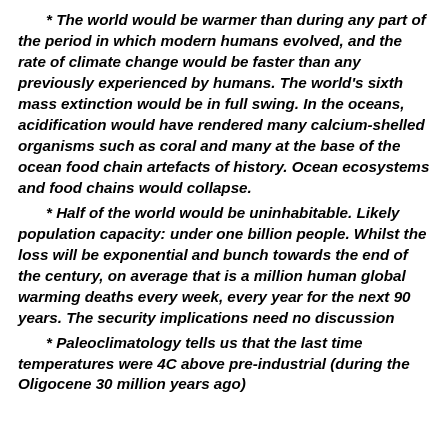* The world would be warmer than during any part of the period in which modern humans evolved, and the rate of climate change would be faster than any previously experienced by humans. The world's sixth mass extinction would be in full swing. In the oceans, acidification would have rendered many calcium-shelled organisms such as coral and many at the base of the ocean food chain artefacts of history. Ocean ecosystems and food chains would collapse.
* Half of the world would be uninhabitable. Likely population capacity: under one billion people. Whilst the loss will be exponential and bunch towards the end of the century, on average that is a million human global warming deaths every week, every year for the next 90 years. The security implications need no discussion
* Paleoclimatology tells us that the last time temperatures were 4C above pre-industrial (during the Oligocene 30 million years ago)